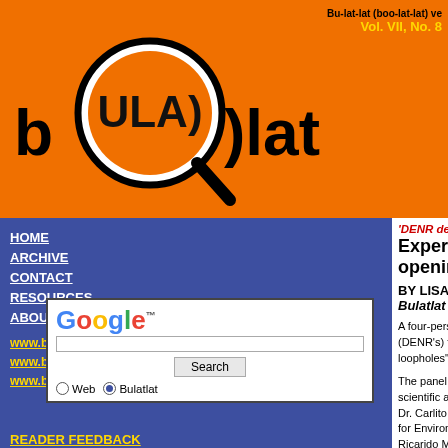[Figure (logo): Bulatlat logo with magnifying glass over text 'bulatlat' on orange background]
Bu-lat-lat (boo-lat-lat) ve
Vol. VII, No. 8
HOME
ARCHIVE
CONTACT
RESOURCES
ABOUT BULATLAT
www.bulatlat.com
www.bulatlat.net
www.bulatlat.org
[Figure (screenshot): Google search box with Search button and Web / Bulatlat radio buttons]
READER FEEDBACK
'DENR decision unscientific, haphazard, a
Experts Find No Scientific Basi... opening
BY LISA ITO
Bulatlat
A four-person panel of independent experts recent... Environment and Natural Resources (DENR's) fo... operations of the Lafayette mine in Rapu-Rapu, A... fraught with technical loopholes" at the very least.
The panel was convened last February by the Cen... (CEC-Phils) and is composed by four scientific an... critiqued the reports that have informed the DENR... commercial operations: Dr. Carlito R. Barril, retin... Philippines (UP) in Los Banos, mining engineer B... the Institute for Environmental Conservation and... University and UP National Institute for Geologic... Ricarido M. Saturay, Jr.